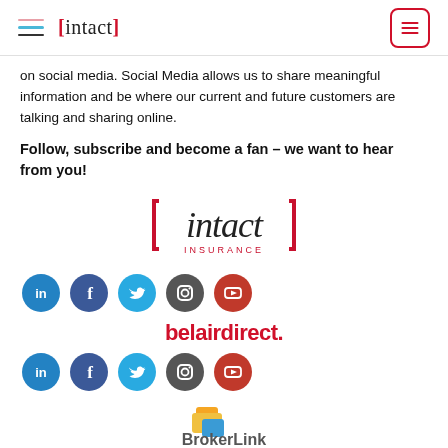intact Insurance — navigation header
on social media. Social Media allows us to share meaningful information and be where our current and future customers are talking and sharing online.
Follow, subscribe and become a fan – we want to hear from you!
[Figure (logo): Intact Insurance logo — red brackets around italic serif text 'intact' with 'INSURANCE' below in small caps red text]
[Figure (infographic): Row of 5 social media icons: LinkedIn (blue), Facebook (dark blue), Twitter (light blue), Instagram (dark grey), YouTube (red)]
[Figure (logo): belairdirect. logo in bold red text]
[Figure (infographic): Row of 5 social media icons: LinkedIn (blue), Facebook (dark blue), Twitter (light blue), Instagram (dark grey), YouTube (red)]
[Figure (logo): Partial BrokerLink logo visible at the bottom of the page — colourful folder icon and partial text 'BrokerLink']